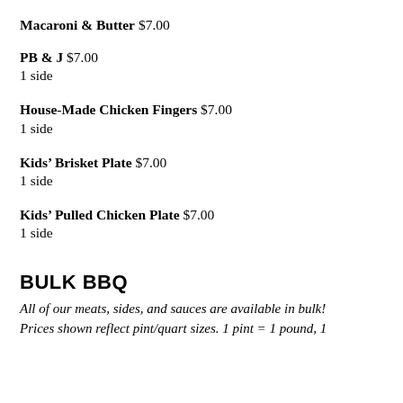Macaroni & Butter $7.00
PB & J $7.00
1 side
House-Made Chicken Fingers $7.00
1 side
Kids’ Brisket Plate $7.00
1 side
Kids’ Pulled Chicken Plate $7.00
1 side
BULK BBQ
All of our meats, sides, and sauces are available in bulk! Prices shown reflect pint/quart sizes. 1 pint = 1 pound, 1